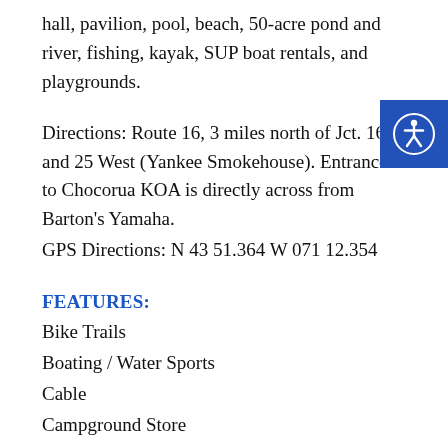hall, pavilion, pool, beach, 50-acre pond and river, fishing, kayak, SUP boat rentals, and playgrounds.
Directions: Route 16, 3 miles north of Jct. 16 and 25 West (Yankee Smokehouse). Entrance to Chocorua KOA is directly across from Barton's Yamaha.
GPS Directions: N 43 51.364 W 071 12.354
FEATURES:
Bike Trails
Boating / Water Sports
Cable
Campground Store